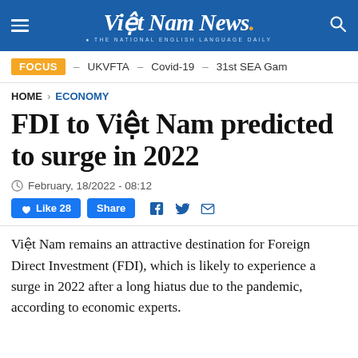Việt Nam News. THE NATIONAL ENGLISH LANGUAGE DAILY
FOCUS  –  UKVFTA  –  Covid-19  –  31st SEA Gam
HOME > ECONOMY
FDI to Việt Nam predicted to surge in 2022
February, 18/2022 - 08:12
Like 28  Share
Việt Nam remains an attractive destination for Foreign Direct Investment (FDI), which is likely to experience a surge in 2022 after a long hiatus due to the pandemic, according to economic experts.